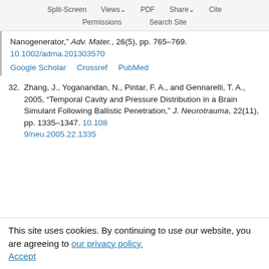Split-Screen  Views  PDF  Share  Cite  Permissions  Search Site
Nanogenerator,” Adv. Mater., 26(5), pp. 765–769. 10.1002/adma.201303570
Google Scholar  Crossref  PubMed
32. Zhang, J., Yoganandan, N., Pintar, F. A., and Gennarelli, T. A., 2005, “Temporal Cavity and Pressure Distribution in a Brain Simulant Following Ballistic Penetration,” J. Neurotrauma, 22(11), pp. 1335–1347. 10.1089/neu.2005.22.1335
This site uses cookies. By continuing to use our website, you are agreeing to our privacy policy. Accept